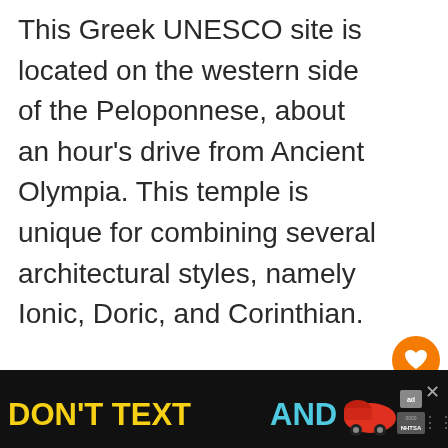This Greek UNESCO site is located on the western side of the Peloponnese, about an hour's drive from Ancient Olympia. This temple is unique for combining several architectural styles, namely Ionic, Doric, and Corinthian.
[Figure (photo): Photo of ancient Greek temple columns with scaffolding, viewed from below looking up]
[Figure (infographic): Ad banner: DON'T TEXT AND [car emoji] with NHTSA branding on black background]